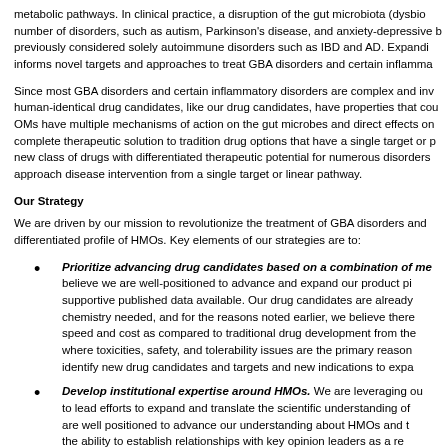metabolic pathways. In clinical practice, a disruption of the gut microbiota (dysbio- number of disorders, such as autism, Parkinson’s disease, and anxiety-depressive b- previously considered solely autoimmune disorders such as IBD and AD. Expandi- informs novel targets and approaches to treat GBA disorders and certain inflamma-
Since most GBA disorders and certain inflammatory disorders are complex and inv- human-identical drug candidates, like our drug candidates, have properties that cou- OMs have multiple mechanisms of action on the gut microbes and direct effects on complete therapeutic solution to tradition drug options that have a single target or p- new class of drugs with differentiated therapeutic potential for numerous disorders approach disease intervention from a single target or linear pathway.
Our Strategy
We are driven by our mission to revolutionize the treatment of GBA disorders and differentiated profile of HMOs. Key elements of our strategies are to:
Prioritize advancing drug candidates based on a combination of me- believe we are well-positioned to advance and expand our product pi- supportive published data available. Our drug candidates are already chemistry needed, and for the reasons noted earlier, we believe there speed and cost as compared to traditional drug development from the where toxicities, safety, and tolerability issues are the primary reason identify new drug candidates and targets and new indications to expa-
Develop institutional expertise around HMOs. We are leveraging ou- to lead efforts to expand and translate the scientific understanding of are well positioned to advance our understanding about HMOs and t- the ability to establish relationships with key opinion leaders as a re-